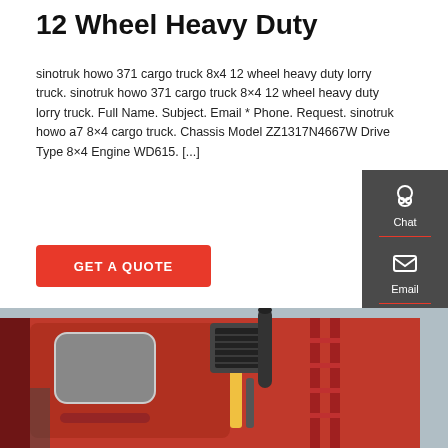12 Wheel Heavy Duty
sinotruk howo 371 cargo truck 8x4 12 wheel heavy duty lorry truck. sinotruk howo 371 cargo truck 8×4 12 wheel heavy duty lorry truck. Full Name. Subject. Email * Phone. Request. sinotruk howo a7 8×4 cargo truck. Chassis Model ZZ1317N4667W Drive Type 8×4 Engine WD615. [...]
GET A QUOTE
[Figure (screenshot): Sidebar widget with Chat, Email, and Contact icons on dark gray background]
[Figure (photo): Close-up photo of a red heavy duty truck cab showing door, air intake stack, and side ladder/frame]